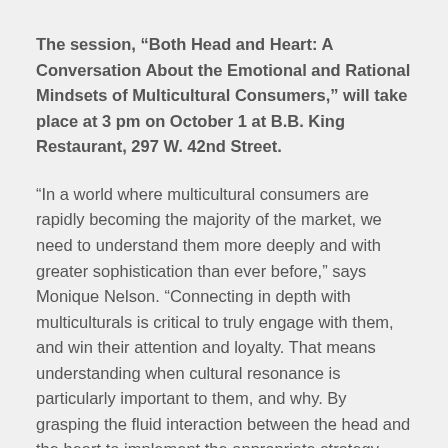The session, “Both Head and Heart: A Conversation About the Emotional and Rational Mindsets of Multicultural Consumers,” will take place at 3 pm on October 1 at B.B. King Restaurant, 297 W. 42nd Street.
“In a world where multicultural consumers are rapidly becoming the majority of the market, we need to understand them more deeply and with greater sophistication than ever before,” says Monique Nelson. “Connecting in depth with multiculturals is critical to truly engage with them, and win their attention and loyalty. That means understanding when cultural resonance is particularly important to them, and why. By grasping the fluid interaction between the head and the heart to implement the appropriate strategy, this